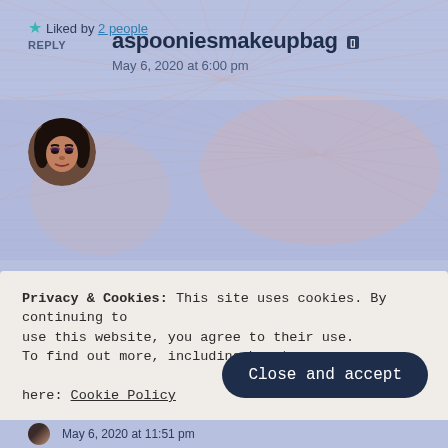★ Liked by 2 people
REPLY
aspooniesmakeupbag
May 6, 2020 at 6:00 pm
thanks doll
★ Liked by 1 person
REPLY
Privacy & Cookies: This site uses cookies. By continuing to use this website, you agree to their use. To find out more, including how to control cookies, see here: Cookie Policy
Close and accept
May 6, 2020 at 11:51 pm